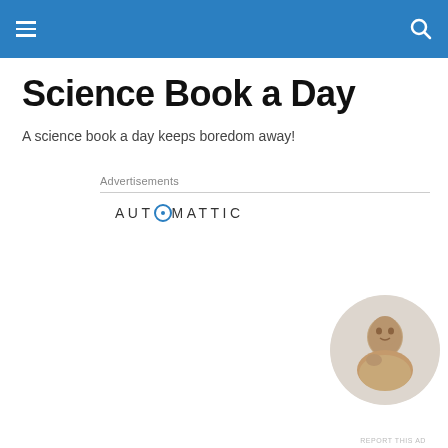Navigation bar with hamburger menu and search icon
Science Book a Day
A science book a day keeps boredom away!
Advertisements
[Figure (logo): AUTOMATTIC logo with circular O icon]
[Figure (infographic): Automattic advertisement: 'Build a better web and a better world.' with Apply button and photo of man thinking]
REPORT THIS AD